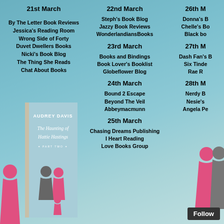21st March
By The Letter Book Reviews
Jessica's Reading Room
Wrong Side of Forty
Duvet Dwellers Books
Nicki's Book Blog
The Thing She Reads
Chat About Books
22nd March
Steph's Book Blog
Jazzy Book Reviews
WonderlandiansBooks
23rd March
Books and Bindings
Book Lover's Booklist
Globeflower Blog
24th March
Bound 2 Escape
Beyond The Veil
Abbeymacmunn
25th March
Chasing Dreams Publishing
I Heart Reading
Love Books Group
26th March
Donna's B...
Chelle's Bo...
Black bo...
27th March
Dash Fan's B...
Six Tinde...
Rae R...
28th March
Nerdy B...
Nesie's...
Angela Pe...
[Figure (illustration): Book cover for 'The Haunting of Hattie Hastings Part Two' by Audrey Davis, featuring silhouettes of figures]
Follow